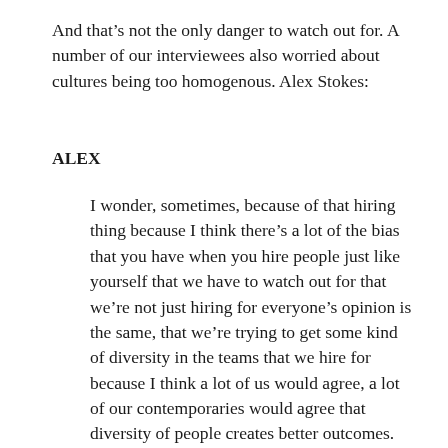And that's not the only danger to watch out for. A number of our interviewees also worried about cultures being too homogenous. Alex Stokes:
ALEX
I wonder, sometimes, because of that hiring thing because I think there's a lot of the bias that you have when you hire people just like yourself that we have to watch out for that we're not just hiring for everyone's opinion is the same, that we're trying to get some kind of diversity in the teams that we hire for because I think a lot of us would agree, a lot of our contemporaries would agree that diversity of people creates better outcomes.